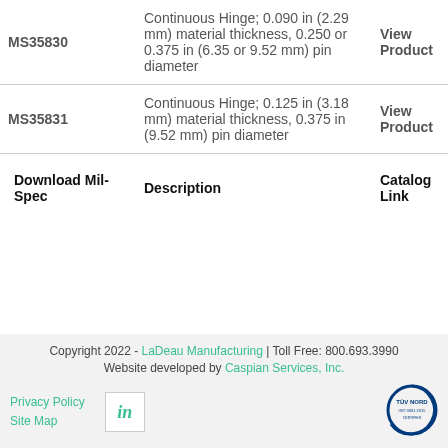|  | Description | Catalog Link |
| --- | --- | --- |
| MS35830 | Continuous Hinge; 0.090 in (2.29 mm) material thickness, 0.250 or 0.375 in (6.35 or 9.52 mm) pin diameter | View Product |
| MS35831 | Continuous Hinge; 0.125 in (3.18 mm) material thickness, 0.375 in (9.52 mm) pin diameter | View Product |
| Download Mil-Spec | Description | Catalog Link |
Copyright 2022 - LaDeau Manufacturing | Toll Free: 800.693.3990
Website developed by Caspian Services, Inc.